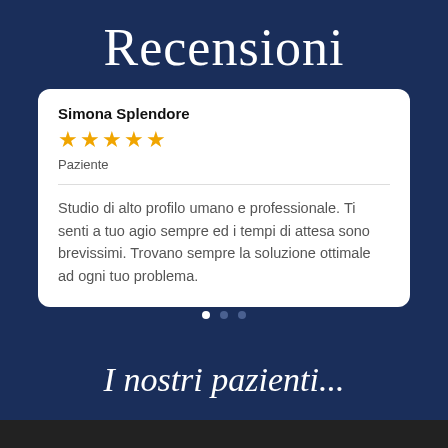Recensioni
Simona Splendore
★★★★★
Paziente
Studio di alto profilo umano e professionale. Ti senti a tuo agio sempre ed i tempi di attesa sono brevissimi. Trovano sempre la soluzione ottimale ad ogni tuo problema.
I nostri pazienti...